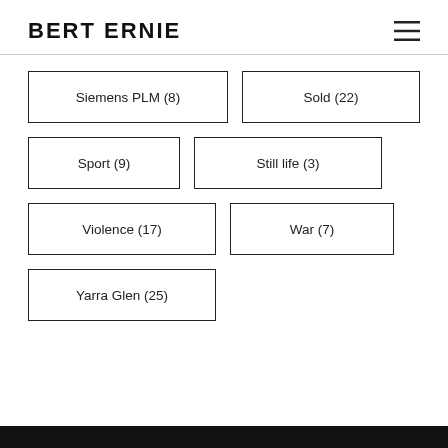BERT ERNIE
Siemens PLM (8)
Sold (22)
Sport (9)
Still life (3)
Violence (17)
War (7)
Yarra Glen (25)